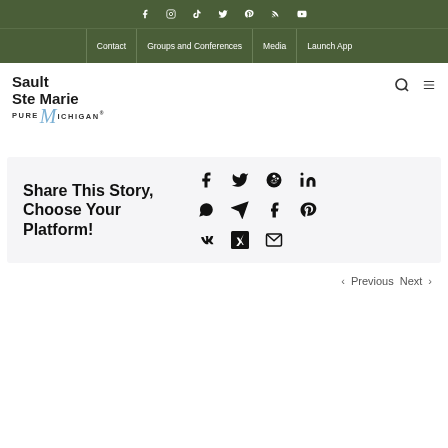Social media icons: Facebook, Instagram, TikTok, Twitter, Pinterest, RSS, YouTube
Contact | Groups and Conferences | Media | Launch App
[Figure (logo): Sault Ste Marie Pure Michigan logo with stylized M in blue script]
Share This Story, Choose Your Platform!
[Figure (infographic): Social sharing icons: Facebook, Twitter, Reddit, LinkedIn, WhatsApp, Telegram, Tumblr, Pinterest, VK, XING, Email]
< Previous   Next >